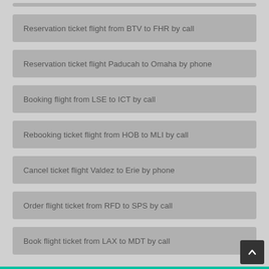Reservation ticket flight from BTV to FHR by call
Reservation ticket flight Paducah to Omaha by phone
Booking flight from LSE to ICT by call
Rebooking ticket flight from HOB to MLI by call
Cancel ticket flight Valdez to Erie by phone
Order flight ticket from RFD to SPS by call
Book flight ticket from LAX to MDT by call